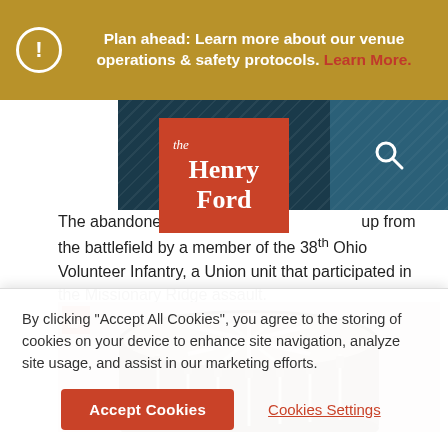Plan ahead: Learn more about our venue operations & safety protocols. Learn More.
[Figure (logo): The Henry Ford museum logo — white italic 'the', large bold 'Henry Ford' on orange-red background]
The abandoned drum was picked up from the battlefield by a member of the 38th Ohio Volunteer Infantry, a Union unit that participated in the Missionary Ridge assault.
[Figure (photo): Close-up top view of an antique drum with leather straps and wooden shell, light background]
By clicking "Accept All Cookies", you agree to the storing of cookies on your device to enhance site navigation, analyze site usage, and assist in our marketing efforts.
Accept Cookies
Cookies Settings